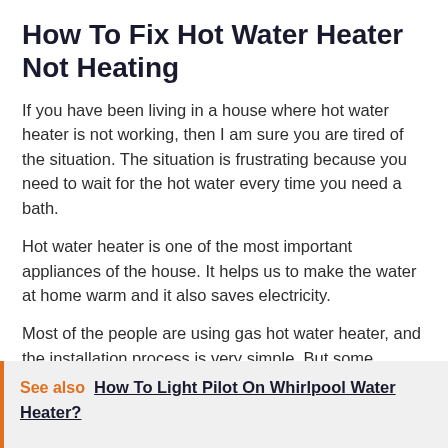How To Fix Hot Water Heater Not Heating
If you have been living in a house where hot water heater is not working, then I am sure you are tired of the situation. The situation is frustrating because you need to wait for the hot water every time you need a bath.
Hot water heater is one of the most important appliances of the house. It helps us to make the water at home warm and it also saves electricity.
Most of the people are using gas hot water heater, and the installation process is very simple. But some people are complaining about the heater not working properly and they need to replace it.
See also  How To Light Pilot On Whirlpool Water Heater?